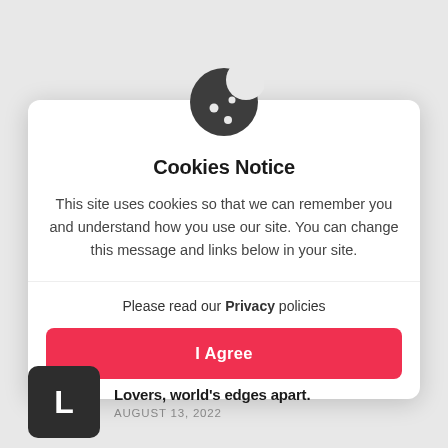[Figure (illustration): Cookie icon (dark gray cookie with bite taken out and dots) centered above the modal dialog]
Cookies Notice
This site uses cookies so that we can remember you and understand how you use our site. You can change this message and links below in your site.
Please read our Privacy policies
I Agree
[Figure (illustration): Dark square icon with white letter L]
Lovers, world's edges apart.
AUGUST 13, 2022